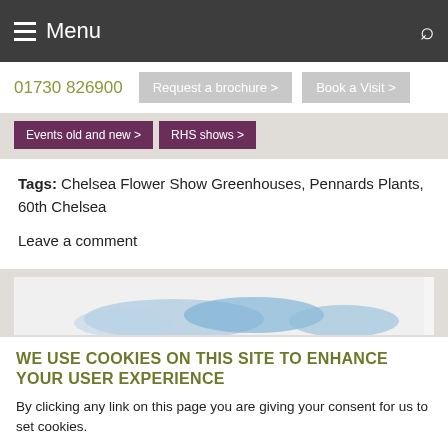Menu
01730 826900  Request a brochure >  Book a Visit >
Events old and new >  RHS shows >
Tags: Chelsea Flower Show Greenhouses, Pennards Plants, 60th Chelsea
Leave a comment
[Figure (photo): Partial image showing blue watercolor or floral elements on a white/light background]
WE USE COOKIES ON THIS SITE TO ENHANCE YOUR USER EXPERIENCE
By clicking any link on this page you are giving your consent for us to set cookies.
OK, I agree >  No, give me more info >